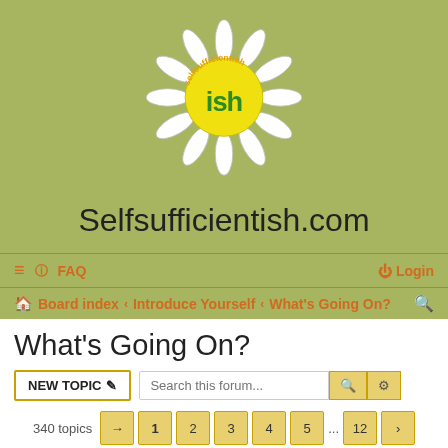[Figure (logo): Selfsufficientish.com daisy/sunflower logo with 'ish' text in center on yellow circle, with white petals and 'selfsufficientish' text around the circle]
Selfsufficientish.com
≡  ? FAQ    Login
Board index › Introduce Yourself › What's Going On?
What's Going On?
NEW TOPIC  Search this forum...
340 topics  1  2  3  4  5  ...  12  >
Announcements
Forum upgrade